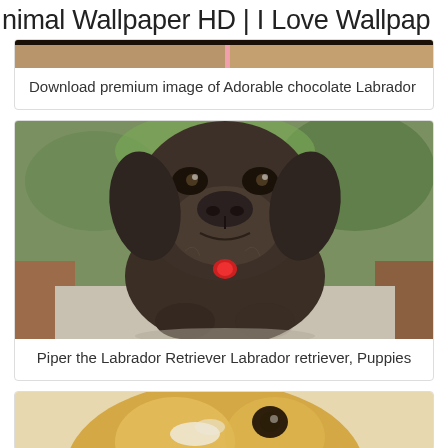nimal Wallpaper HD | I Love Wallpap
Download premium image of Adorable chocolate Labrador
[Figure (photo): Chocolate Labrador Retriever puppy sitting outdoors, close-up face shot, wearing a red collar tag, with green foliage in background]
Piper the Labrador Retriever Labrador retriever, Puppies
[Figure (photo): Partial view of a golden/yellow Labrador Retriever, cropped at bottom of page]